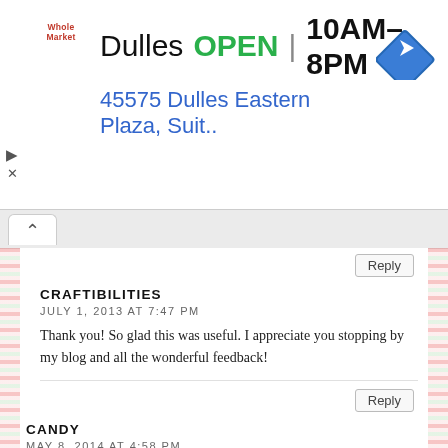[Figure (screenshot): Ad banner: Whole Foods Market logo, Dulles OPEN 10AM-8PM, address 45575 Dulles Eastern Plaza, Suit.. with navigation icon]
Reply
CRAFTIBILITIES
JULY 1, 2013 AT 7:47 PM
Thank you! So glad this was useful. I appreciate you stopping by my blog and all the wonderful feedback!
Reply
CANDY
MAY 8, 2014 AT 4:58 PM
do you still have the link/file for the small lid topper?
Reply